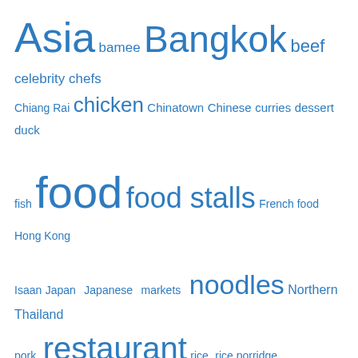[Figure (other): Tag cloud with food and travel-related tags in blue, varying font sizes indicating frequency. Tags: Asia, bamee, Bangkok, beef, celebrity chefs, Chiang Rai, chicken, Chinatown, Chinese, curries, dessert, duck, fish, food, food stalls, French food, Hong Kong, Isaan, Japan, Japanese, markets, noodles, Northern Thailand, pork, restaurant, rice, rice porridge, seafood, Thai-Chinese, Thailand]
View Full Site
Blog at WordPress.com.